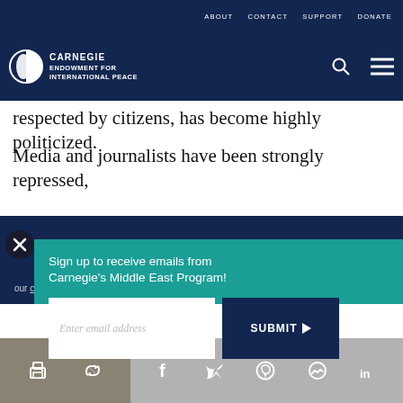ABOUT  CONTACT  SUPPORT  DONATE
[Figure (logo): Carnegie Endowment for International Peace logo with circular icon and white text on dark blue background]
respected by citizens, has become highly politicized.
Media and journalists have been strongly repressed,
Sign up to receive emails from Carnegie's Middle East Program!
Enter email address
SUBMIT
our cookie policy.
[Figure (infographic): Social sharing bar with print, share, Facebook, Twitter, WhatsApp, Messenger, and LinkedIn icons]